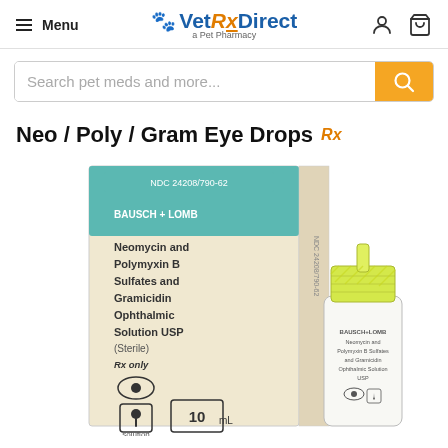Menu | Vet Rx Direct – a Pet Pharmacy
Search pet meds and more...
Neo / Poly / Gram Eye Drops Rx
[Figure (photo): Bausch + Lomb Neomycin and Polymyxin B Sulfates and Gramicidin Ophthalmic Solution USP (Sterile) Rx only – 10mL box and dropper bottle]